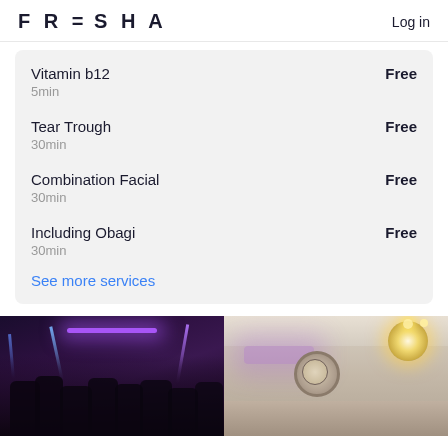FRESHA  Log in
Vitamin b12
5min
Free
Tear Trough
30min
Free
Combination Facial
30min
Free
Including Obagi
30min
Free
See more services
[Figure (photo): Two side-by-side photos: left shows a group of women at a party with purple/blue lighting beams; right shows an elegant room interior with chandelier and purple accent lighting]